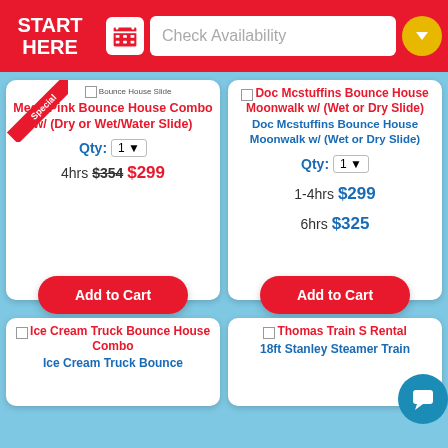START HERE | Check Availability
Mega Pink Bounce House Combo w/ (Dry or Wet/Water Slide)
Qty: 1
4hrs $354 $299
Doc Mcstuffins Bounce House Moonwalk w/ (Wet or Dry Slide)
Doc Mcstuffins Bounce House Moonwalk w/ (Wet or Dry Slide)
Qty: 1
1-4hrs $299
6hrs $325
Ice Cream Truck Bounce House Combo
Ice Cream Truck Bounce
Thomas Train S Rental
18ft Stanley Steamer Train